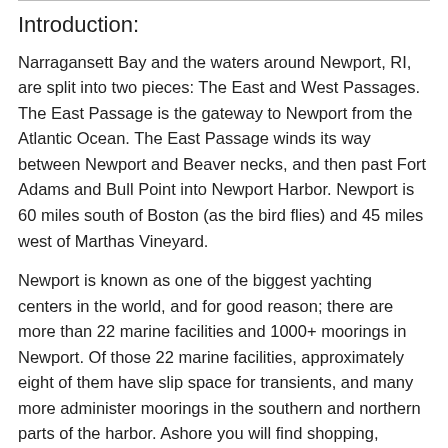Introduction:
Narragansett Bay and the waters around Newport, RI, are split into two pieces: The East and West Passages. The East Passage is the gateway to Newport from the Atlantic Ocean. The East Passage winds its way between Newport and Beaver necks, and then past Fort Adams and Bull Point into Newport Harbor. Newport is 60 miles south of Boston (as the bird flies) and 45 miles west of Marthas Vineyard.
Newport is known as one of the biggest yachting centers in the world, and for good reason; there are more than 22 marine facilities and 1000+ moorings in Newport. Of those 22 marine facilities, approximately eight of them have slip space for transients, and many more administer moorings in the southern and northern parts of the harbor. Ashore you will find shopping, provisioning possibilities, places for